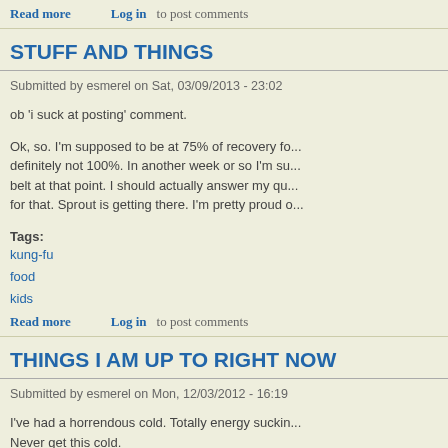Read more   Log in   to post comments
STUFF AND THINGS
Submitted by esmerel on Sat, 03/09/2013 - 23:02
ob 'i suck at posting' comment.
Ok, so. I'm supposed to be at 75% of recovery fo... definitely not 100%. In another week or so I'm su... belt at that point. I should actually answer my qu... for that. Sprout is getting there. I'm pretty proud o...
Tags:
kung-fu
food
kids
Read more   Log in   to post comments
THINGS I AM UP TO RIGHT NOW
Submitted by esmerel on Mon, 12/03/2012 - 16:19
I've had a horrendous cold. Totally energy suckin... Never get this cold.
The Broncos are kicking ass and taking names.
C and I earned our second stripe towards our b...